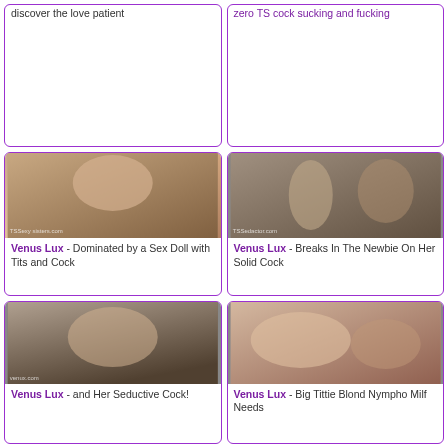discover the love patient
zero TS cock sucking and fucking
[Figure (photo): Adult content thumbnail - Venus Lux scene]
Venus Lux - Dominated by a Sex Doll with Tits and Cock
[Figure (photo): Adult content thumbnail - Venus Lux scene]
Venus Lux - Breaks In The Newbie On Her Solid Cock
[Figure (photo): Adult content thumbnail - Venus Lux scene]
Venus Lux - and Her Seductive Cock!
[Figure (photo): Adult content thumbnail - Venus Lux scene]
Venus Lux - Big Tittie Blond Nympho Milf Needs